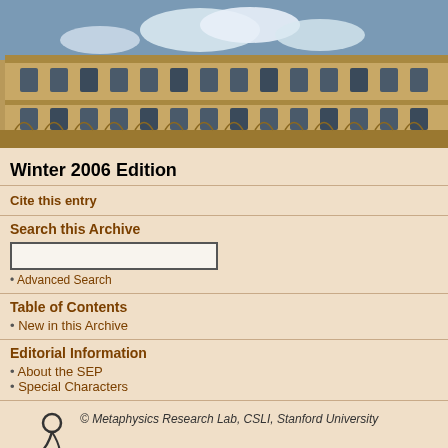[Figure (photo): Photo of a historic university building (sandstone architecture) under a blue sky]
Winter 2006 Edition
Cite this entry
Search this Archive
Advanced Search
Table of Contents
New in this Archive
Editorial Information
About the SEP
Special Characters
[Figure (logo): Metaphysics Research Lab logo – stylized figure]
© Metaphysics Research Lab, CSLI, Stanford University
to) P(H).
H receives a greater increment (or lesser decrement) of evidential support from E than from E* if and only if P_E(H) exceeds P_E*(H).
Both these equivalences continue to hold with probabilities replaced by odds. So, this part of the subjectivist theory of evidence does not depend on how total evidence is